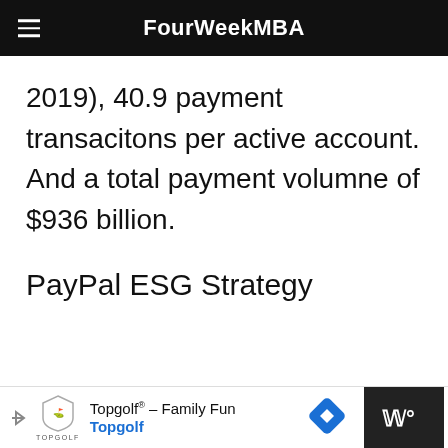FourWeekMBA
2019), 40.9 payment transacitons per active account. And a total payment volumne of $936 billion.
PayPal ESG Strategy
[Figure (other): Advertisement banner: Topgolf® - Family Fun, Topgolf logo with shield icon, navigation arrow icon, and dark panel on right with stylized W icon]